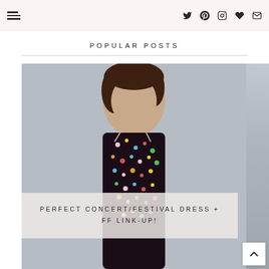Navigation header with menu icon and social icons (Twitter, Pinterest, Instagram, Heart/Bloglovin, Email)
POPULAR POSTS
[Figure (photo): Woman wearing a dark floral spaghetti-strap midi dress with colorful flower pattern, round sunglasses, short dark bob hair, standing against a grey wall. Semi-transparent text overlay reads 'PERFECT CONCERT/FESTIVAL DRESS + FF LINK-UP!']
PERFECT CONCERT/FESTIVAL DRESS + FF LINK-UP!